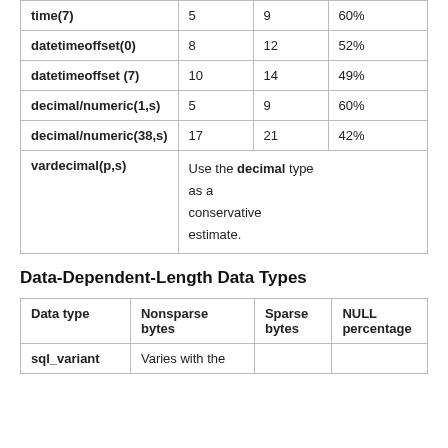| time(7) | 5 | 9 | 60% |
| datetimeoffset(0) | 8 | 12 | 52% |
| datetimeoffset (7) | 10 | 14 | 49% |
| decimal/numeric(1,s) | 5 | 9 | 60% |
| decimal/numeric(38,s) | 17 | 21 | 42% |
| vardecimal(p,s) | Use the decimal type as a conservative estimate. |  |  |
Data-Dependent-Length Data Types
| Data type | Nonsparse bytes | Sparse bytes | NULL percentage |
| --- | --- | --- | --- |
| sql_variant | Varies with the |  |  |